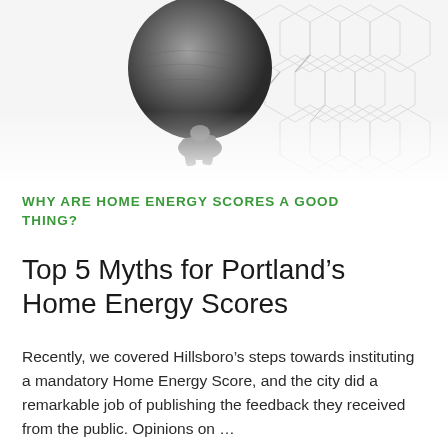[Figure (photo): Black and white illustration/photo of a figure (resembling Atlas) pushing or holding up a large heavy sphere/ball, with a cracked hexagonal pattern background suggesting breaking through or burden.]
WHY ARE HOME ENERGY SCORES A GOOD THING?
Top 5 Myths for Portland's Home Energy Scores
Recently, we covered Hillsboro's steps towards instituting a mandatory Home Energy Score, and the city did a remarkable job of publishing the feedback they received from the public. Opinions on …